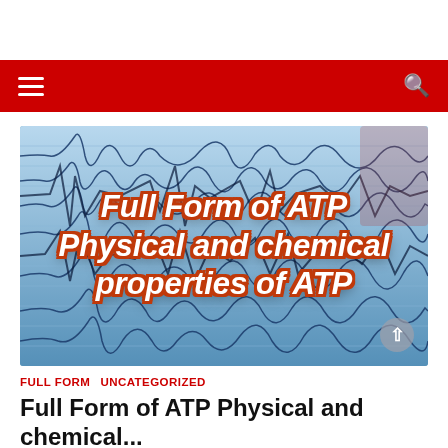[Figure (screenshot): Hero image with blue seismograph/wave background and bold italic white text with orange outline reading: Full Form of ATP Physical and chemical properties of ATP]
FULL FORM  UNCATEGORIZED
Full Form of ATP Physical and chemical...